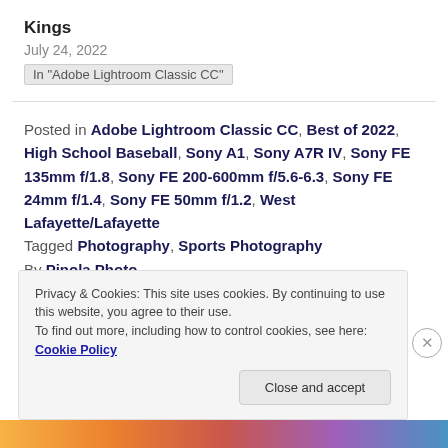Kings
July 24, 2022
In "Adobe Lightroom Classic CC"
Posted in Adobe Lightroom Classic CC, Best of 2022, High School Baseball, Sony A1, Sony A7R IV, Sony FE 135mm f/1.8, Sony FE 200-600mm f/5.6-6.3, Sony FE 24mm f/1.4, Sony FE 50mm f/1.2, West Lafayette/Lafayette Tagged Photography, Sports Photography By Pinola Photo
Privacy & Cookies: This site uses cookies. By continuing to use this website, you agree to their use. To find out more, including how to control cookies, see here: Cookie Policy
Close and accept